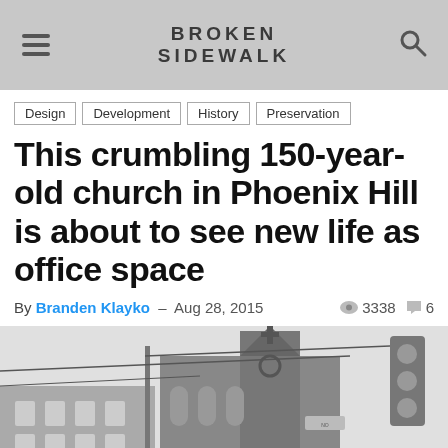BROKEN SIDEWALK
Design
Development
History
Preservation
This crumbling 150-year-old church in Phoenix Hill is about to see new life as office space
By Branden Klayko - Aug 28, 2015  3338  6
[Figure (photo): Black and white photograph of a old brick church building with ornate tower and arched windows at a street corner, shot from a low angle looking up. A traffic light and street signs are visible.]